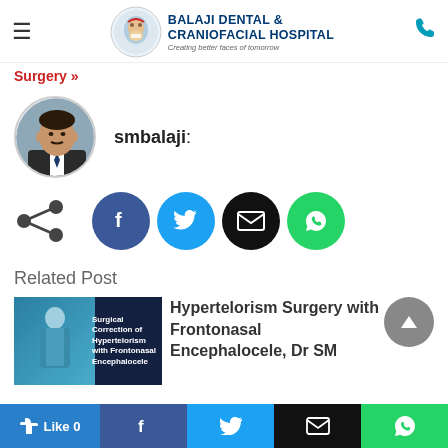[Figure (logo): Balaji Dental & Craniofacial Hospital logo with circular emblem and tagline 'Creating better faces of tomorrow']
Surgery »
[Figure (photo): Circular profile photo of a man in a suit and tie]
smbalaji:
[Figure (infographic): Share icons: share symbol, Facebook (blue circle), Twitter (cyan circle), Email (black circle), WhatsApp (green circle)]
Related Post
[Figure (photo): Thumbnail image for related post about Hypertelorism Surgery with Frontonasal Encephalocele showing surgeons]
Hypertelorism Surgery with Frontonasal Encephalocele, Dr SM
[Figure (infographic): Bottom bar: Like 0 button, Facebook, Twitter, Email, WhatsApp share buttons]